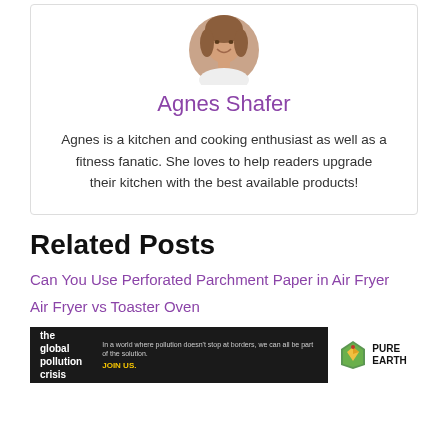[Figure (photo): Circular profile photo of Agnes Shafer, a woman with brown hair, smiling]
Agnes Shafer
Agnes is a kitchen and cooking enthusiast as well as a fitness fanatic. She loves to help readers upgrade their kitchen with the best available products!
Related Posts
Can You Use Perforated Parchment Paper in Air Fryer
Air Fryer vs Toaster Oven
[Figure (infographic): Pure Earth advertisement banner: 'We believe the global pollution crisis can be solved.' with logo]